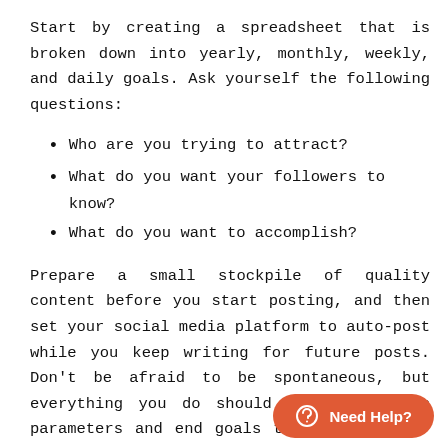Start by creating a spreadsheet that is broken down into yearly, monthly, weekly, and daily goals. Ask yourself the following questions:
Who are you trying to attract?
What do you want your followers to know?
What do you want to accomplish?
Prepare a small stockpile of quality content before you start posting, and then set your social media platform to auto-post while you keep writing for future posts. Don't be afraid to be spontaneous, but everything you do should fit within the parameters and end goals that you set for yourself.